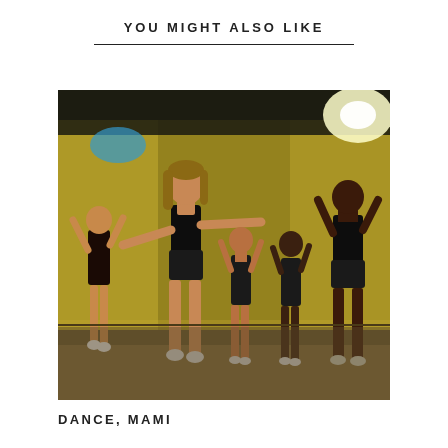YOU MIGHT ALSO LIKE
[Figure (photo): Five female dancers in black sequined outfits performing on a stage with a yellow-green lit backdrop. The central dancer has her arms outstretched and is smiling. Other dancers are posed with arms raised above their heads.]
DANCE, MAMI